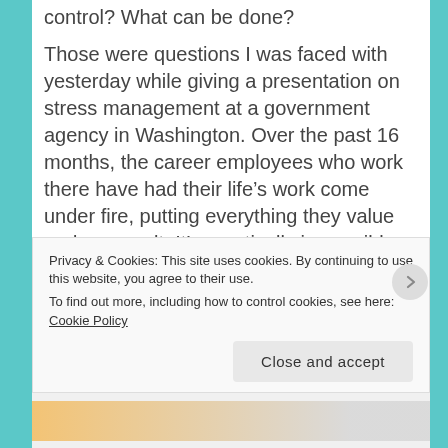control? What can be done?
Those were questions I was faced with yesterday while giving a presentation on stress management at a government agency in Washington. Over the past 16 months, the career employees who work there have had their life's work come under fire, putting everything they value under assault. It's practically impossible to do their jobs as they believe they should be done. How do they deal with that frustration day after day? For some, the answer is to walk away, take retirement if they can. For others, the choice is to remain on the job, struggling to
Privacy & Cookies: This site uses cookies. By continuing to use this website, you agree to their use.
To find out more, including how to control cookies, see here: Cookie Policy
Close and accept